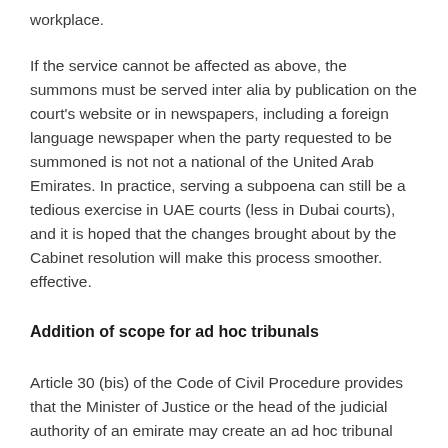workplace.
If the service cannot be affected as above, the summons must be served inter alia by publication on the court's website or in newspapers, including a foreign language newspaper when the party requested to be summoned is not not a national of the United Arab Emirates. In practice, serving a subpoena can still be a tedious exercise in UAE courts (less in Dubai courts), and it is hoped that the changes brought about by the Cabinet resolution will make this process smoother. effective.
Addition of scope for ad hoc tribunals
Article 30 (bis) of the Code of Civil Procedure provides that the Minister of Justice or the head of the judicial authority of an emirate may create an ad hoc tribunal chaired by a judge and assisted by two local or international experts to hear and determine certain questions which would